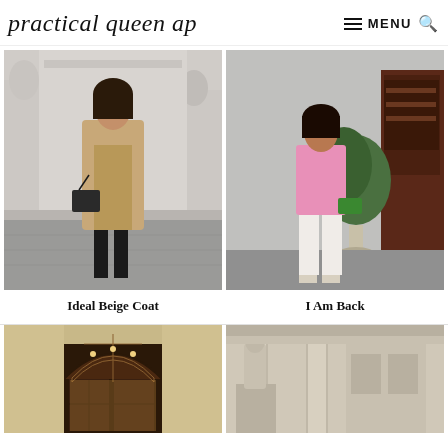practical queen ap   MENU
[Figure (photo): Woman in beige coat with black knee-high boots and black handbag standing in front of classical building with statues]
[Figure (photo): Woman in pink blouse and white wide-leg trousers holding green clutch standing outside a building]
Ideal Beige Coat
I Am Back
[Figure (photo): Arched doorway of a classical building with ornate wooden door]
[Figure (photo): Classical building facade with statues and columns]